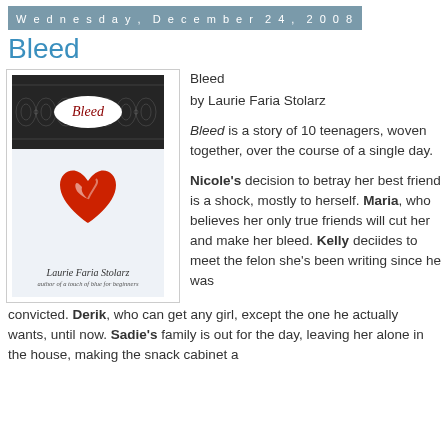Wednesday, December 24, 2008
Bleed
[Figure (photo): Book cover of 'Bleed' by Laurie Faria Stolarz, showing a dark lace band at top with an oval title label, and a red broken heart illustration on a light background below.]
Bleed
by Laurie Faria Stolarz

Bleed is a story of 10 teenagers, woven together, over the course of a single day.

Nicole's decision to betray her best friend is a shock, mostly to herself. Maria, who believes her only true friends will cut her and make her bleed. Kelly deciides to meet the felon she's been writing since he was convicted. Derik, who can get any girl, except the one he actually wants, until now. Sadie's family is out for the day, leaving her alone in the house, making the snack cabinet a